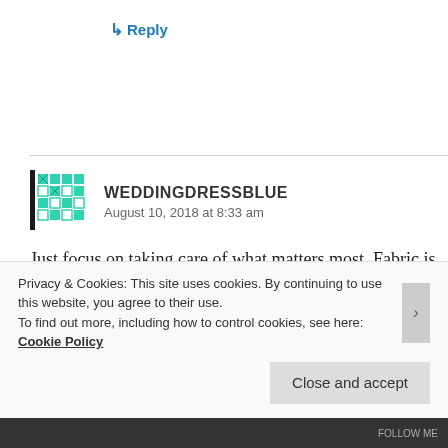↳ Reply
[Figure (illustration): Green and white geometric/quilted pattern avatar icon for user WEDDINGDRESSBLUE]
WEDDINGDRESSBLUE
August 10, 2018 at 8:33 am
Just focus on taking care of what matters most. Fabric is patient. It will be waiting for you when you get back to it. and so will we.
Privacy & Cookies: This site uses cookies. By continuing to use this website, you agree to their use.
To find out more, including how to control cookies, see here: Cookie Policy
Close and accept